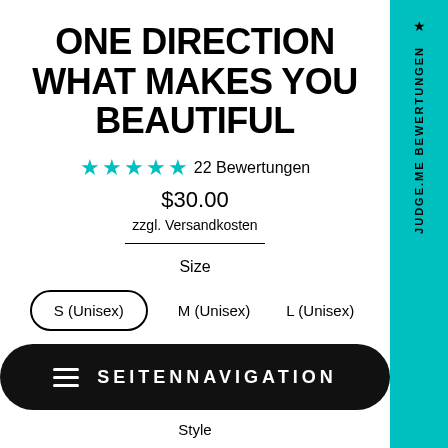ONE DIRECTION WHAT MAKES YOU BEAUTIFUL
★★★★★ 22 Bewertungen
$30.00
zzgl. Versandkosten
Size
S (Unisex)   M (Unisex)   L (Unisex)
SEITENNAVIGATION
Style
★ JUDGE.ME BEWERTUNGEN